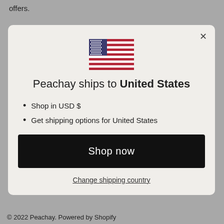offers.
[Figure (illustration): US flag emoji/icon in the center of the modal dialog]
Peachay ships to United States
Shop in USD $
Get shipping options for United States
Shop now
Change shipping country
© 2022 Peachay. Powered by Shopify